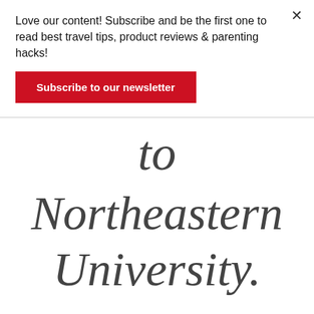Love our content! Subscribe and be the first one to read best travel tips, product reviews & parenting hacks!
Subscribe to our newsletter
to Northeastern University.